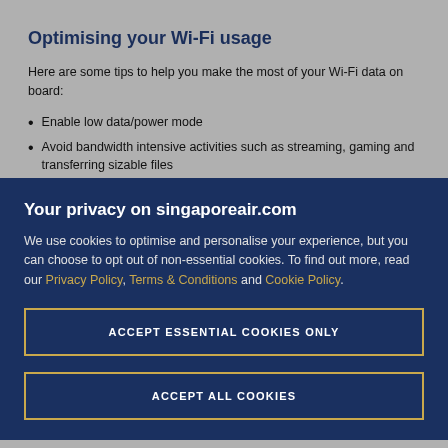Optimising your Wi-Fi usage
Here are some tips to help you make the most of your Wi-Fi data on board:
Enable low data/power mode
Avoid bandwidth intensive activities such as streaming, gaming and transferring sizable files
Disable media auto-download
Switch off Wi-Fi when idle (only data-based...)
Your privacy on singaporeair.com
We use cookies to optimise and personalise your experience, but you can choose to opt out of non-essential cookies. To find out more, read our Privacy Policy, Terms & Conditions and Cookie Policy.
ACCEPT ESSENTIAL COOKIES ONLY
ACCEPT ALL COOKIES